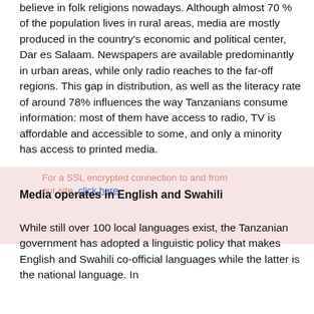believe in folk religions nowadays. Although almost 70 % of the population lives in rural areas, media are mostly produced in the country's economic and political center, Dar es Salaam. Newspapers are available predominantly in urban areas, while only radio reaches to the far-off regions. This gap in distribution, as well as the literacy rate of around 78% influences the way Tanzanians consume information: most of them have access to radio, TV is affordable and accessible to some, and only a minority has access to printed media.
Media operates in English and Swahili
While still over 100 local languages exist, the Tanzanian government has adopted a linguistic policy that makes English and Swahili co-official languages while the latter is the national language. In